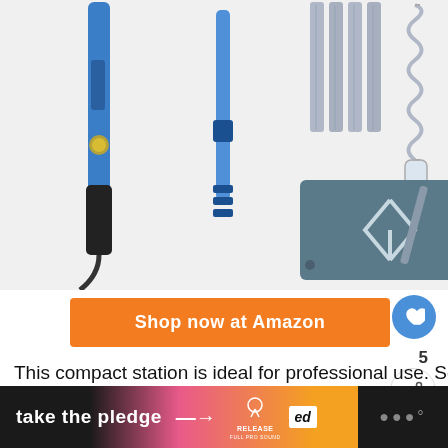[Figure (photo): Product image collage showing soldering iron tools including a blue soldering pen, a blue pen-style soldering iron, metal rods/tubes, and a metal soldering helper stand on a grey base plate, against a light grey background.]
Shop now at Amazon
This compact station is ideal for professional use. Soldering can be performed and adjusted from the control knob from 200°C-450°C.
[Figure (infographic): WHAT'S NEXT panel: Top 15 Best Paint Sprayer... with thumbnail image and blue progress bar]
[Figure (infographic): Bottom banner: take the pledge → with RELEASE and Ed logos on gradient orange-pink background, dark right section with dot logo]